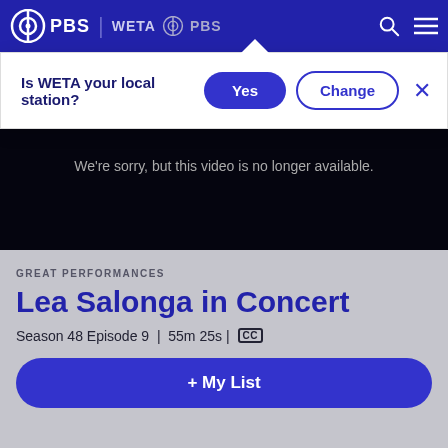[Figure (screenshot): PBS navigation bar with PBS logo, WETA PBS branding, search icon, and menu icon on dark blue background]
Is WETA your local station?
Yes
Change
We're sorry, but this video is no longer available.
GREAT PERFORMANCES
Lea Salonga in Concert
Season 48 Episode 9 | 55m 25s | CC
+ My List